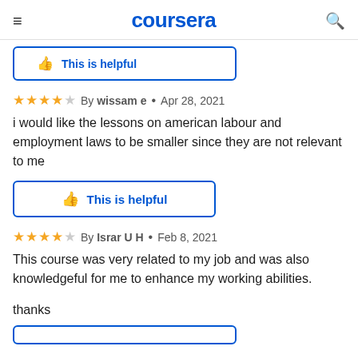coursera
[Figure (screenshot): Partially visible 'This is helpful' button at top of page]
By wissam e • Apr 28, 2021 — 4 stars
i would like the lessons on american labour and employment laws to be smaller since they are not relevant to me
[Figure (screenshot): This is helpful button with thumbs up icon]
By Israr U H • Feb 8, 2021 — 4 stars
This course was very related to my job and was also knowledgeful for me to enhance my working abilities.
thanks
[Figure (screenshot): Partially visible 'This is helpful' button at bottom of page]